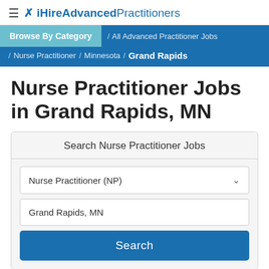≡ ✗ iHireAdvancedPractitioners
Browse By Category / All Advanced Practitioner Jobs / Nurse Practitioner / Minnesota / Grand Rapids
Nurse Practitioner Jobs in Grand Rapids, MN
Search Nurse Practitioner Jobs
Nurse Practitioner (NP)
Grand Rapids, MN
Search